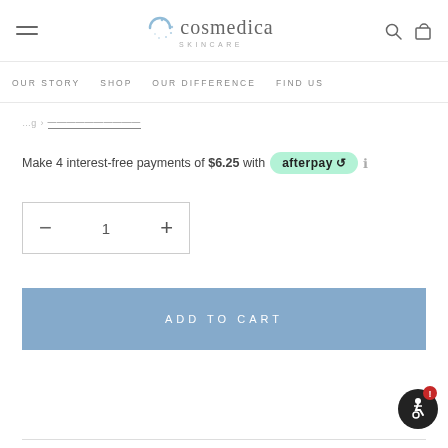Cosmedica Skincare – navigation header with hamburger menu, logo, search and bag icons
OUR STORY   SHOP   OUR DIFFERENCE   FIND US
Make 4 interest-free payments of $6.25 with afterpay
− 1 +
ADD TO CART